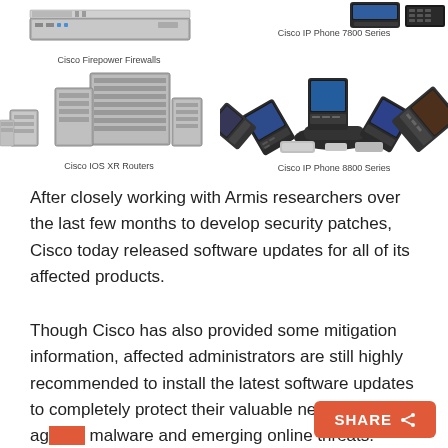[Figure (photo): Cisco Firepower Firewalls product image (rack-mounted network appliance)]
Cisco Firepower Firewalls
[Figure (photo): Cisco IOS XR Routers product image (large chassis routers)]
Cisco IOS XR Routers
[Figure (photo): Cisco IP Phone 7800 Series product image]
Cisco IP Phone 7800 Series
[Figure (photo): Cisco IP Phone 8800 Series product image (multiple phone models arranged in arc)]
Cisco IP Phone 8800 Series
After closely working with Armis researchers over the last few months to develop security patches, Cisco today released software updates for all of its affected products.
Though Cisco has also provided some mitigation information, affected administrators are still highly recommended to install the latest software updates to completely protect their valuable networks against malware and emerging online threats.